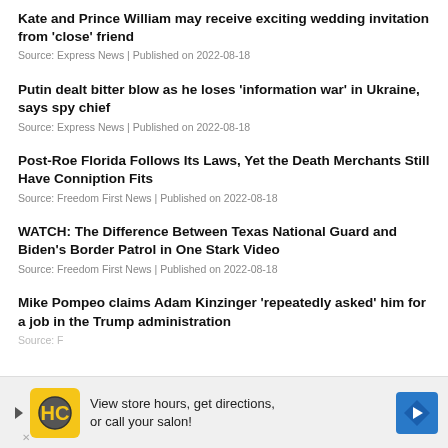Kate and Prince William may receive exciting wedding invitation from 'close' friend
Source: Express News | Published on 2022-08-18
Putin dealt bitter blow as he loses 'information war' in Ukraine, says spy chief
Source: Express News | Published on 2022-08-18
Post-Roe Florida Follows Its Laws, Yet the Death Merchants Still Have Conniption Fits
Source: Freedom First News | Published on 2022-08-18
WATCH: The Difference Between Texas National Guard and Biden's Border Patrol in One Stark Video
Source: Freedom First News | Published on 2022-08-18
Mike Pompeo claims Adam Kinzinger 'repeatedly asked' him for a job in the Trump administration
Source: F...
[Figure (infographic): Advertisement banner: HC logo in yellow square, text 'View store hours, get directions, or call your salon!', blue diamond arrow icon on right.]